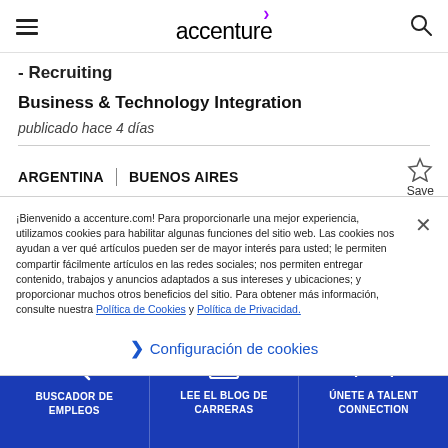accenture
- Recruiting
Business & Technology Integration
publicado hace 4 días
ARGENTINA  |  BUENOS AIRES
Retail Industry - Management Consulting
¡Bienvenido a accenture.com! Para proporcionarle una mejor experiencia, utilizamos cookies para habilitar algunas funciones del sitio web. Las cookies nos ayudan a ver qué artículos pueden ser de mayor interés para usted; le permiten compartir fácilmente artículos en las redes sociales; nos permiten entregar contenido, trabajos y anuncios adaptados a sus intereses y ubicaciones; y proporcionar muchos otros beneficios del sitio. Para obtener más información, consulte nuestra Política de Cookies y Política de Privacidad.
Configuración de cookies
BUSCADOR DE EMPLEOS | LEE EL BLOG DE CARRERAS | ÚNETE A TALENT CONNECTION